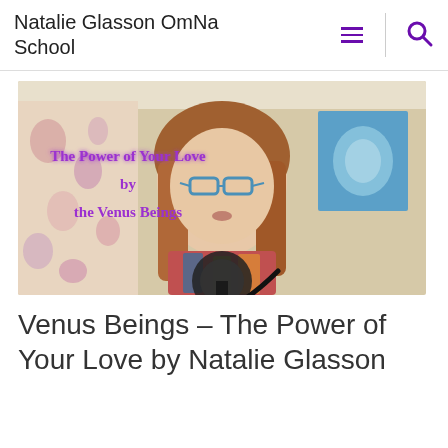Natalie Glasson OmNa School
[Figure (photo): Video thumbnail showing a woman with glasses and long brown hair sitting in front of a microphone. Floral curtain in background, blue artwork on wall. Overlay text reads 'The Power of Your Love by the Venus Beings' in purple font.]
Venus Beings – The Power of Your Love by Natalie Glasson